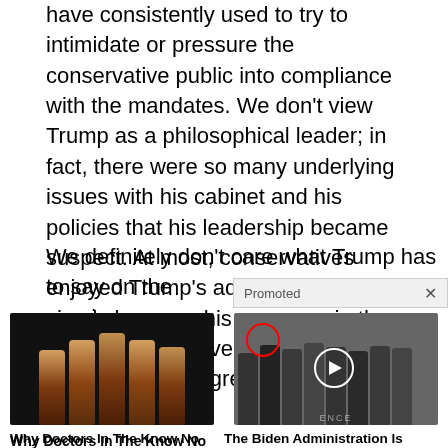have consistently used to try to intimidate or pressure the conservative public into compliance with the mandates. We don't view Trump as a philosophical leader; in fact, there were so many underlying issues with his cabinet and his policies that his leadership became suspect. At most, conservatives enjoyed Trump's administration simply because his presence in the White House drove leftist authoritarians to greater madness.
We definitely don't care what Trump has to say on the vaccines.
Promoted
[Figure (photo): Advertisement image showing pill/medicine bottles arranged together against dark background]
Why Doctors In The Know No Longer Prescribe Blood Pressure Meds
122,849
[Figure (photo): Advertisement image showing group of people in suits standing together, with red circle highlighting one person and white circle with play button overlay]
The Biden Administration Is Hiding The Truth Behind Potential Changes To US Dollar
35,338